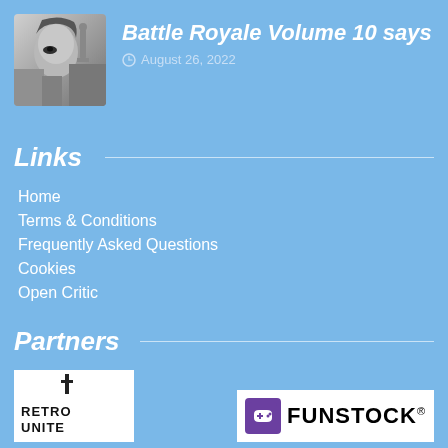[Figure (photo): Thumbnail image of a woman in black and white style]
Battle Royale Volume 10 says
August 26, 2022
Links
Home
Terms & Conditions
Frequently Asked Questions
Cookies
Open Critic
Partners
[Figure (logo): Retro Unite logo in black and white]
[Figure (logo): Funstock logo with purple game controller icon]